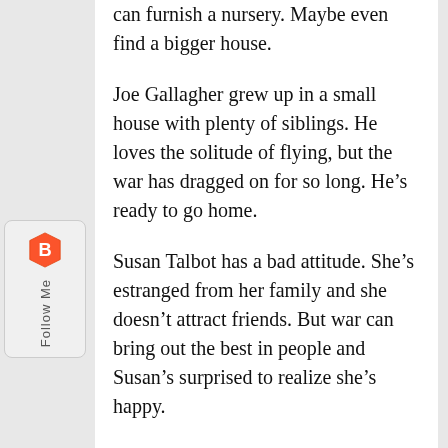can furnish a nursery. Maybe even find a bigger house.
Joe Gallagher grew up in a small house with plenty of siblings. He loves the solitude of flying, but the war has dragged on for so long. He’s ready to go home.
Susan Talbot has a bad attitude. She’s estranged from her family and she doesn’t attract friends. But war can bring out the best in people and Susan’s surprised to realize she’s happy.
They all do their part in striving for victory in World War II. Sometimes, though, the danger can be hard to identify.